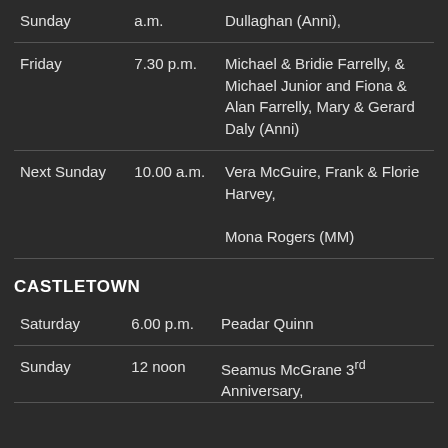| Day | Time | Names |
| --- | --- | --- |
| Sunday | a.m. | Dullaghan (Anni), |
| Friday | 7.30 p.m. | Michael & Bridie Farrelly, & Michael Junior and Fiona & Alan Farrelly, Mary & Gerard Daly (Anni) |
| Next Sunday | 10.00 a.m. | Vera McGuire, Frank & Florie Harvey,

Mona Rogers (MM) |
CASTLETOWN
| Day | Time | Names |
| --- | --- | --- |
| Saturday | 6.00 p.m. | Peadar Quinn |
| Sunday | 12 noon | Seamus McGrane 3rd Anniversary, |